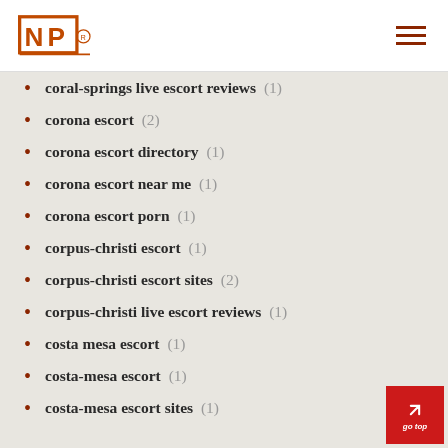NP logo and navigation menu
coral-springs live escort reviews (1)
corona escort (2)
corona escort directory (1)
corona escort near me (1)
corona escort porn (1)
corpus-christi escort (1)
corpus-christi escort sites (2)
corpus-christi live escort reviews (1)
costa mesa escort (1)
costa-mesa escort (1)
costa-mesa escort sites (1)